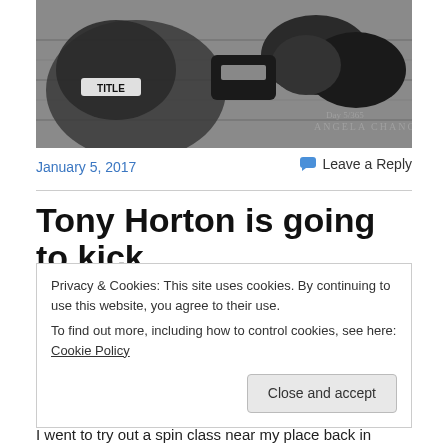[Figure (photo): Black and white photo of boxing gloves and gym equipment laid on a wooden floor. Watermark reads 'Day 5/365 ANGELA CHANG' in lower right corner.]
January 5, 2017
Leave a Reply
Tony Horton is going to kick
Privacy & Cookies: This site uses cookies. By continuing to use this website, you agree to their use.
To find out more, including how to control cookies, see here: Cookie Policy
Close and accept
I went to try out a spin class near my place back in